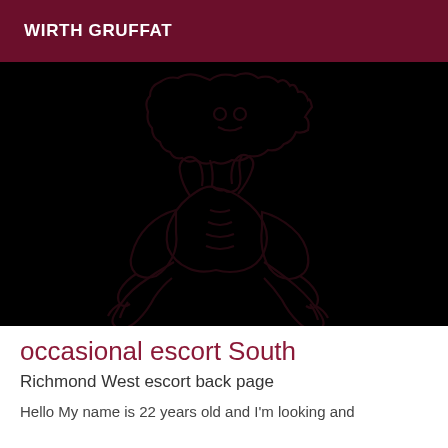WIRTH GRUFFAT
[Figure (illustration): Dark/black background with a faint outline illustration of a decorative dragon or mythological creature figure, rendered in very dark maroon/dark lines on black background.]
occasional escort South
Richmond West escort back page
Hello My name is 22 years old and I'm looking and